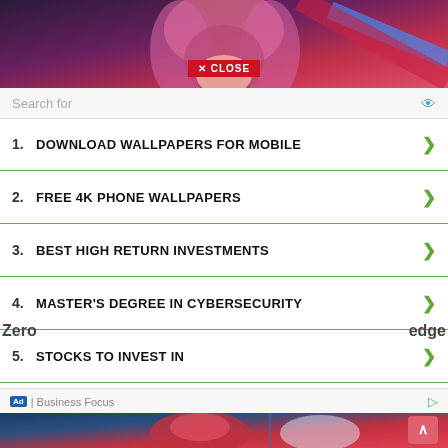[Figure (illustration): Anime character with pink hair and red outfit, partially visible at top of page]
✕ CLOSE
Search for
1.  DOWNLOAD WALLPAPERS FOR MOBILE
2.  FREE 4K PHONE WALLPAPERS
3.  BEST HIGH RETURN INVESTMENTS
4.  MASTER'S DEGREE IN CYBERSECURITY
5.  STOCKS TO INVEST IN
6.  VALUE OF MY USED CAR
Zero
edge
Ad | Business Focus
[Figure (illustration): Anime character in red suit, partially visible at bottom of page]